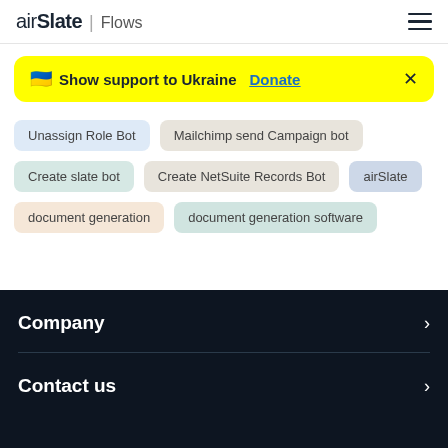airSlate | Flows
🇺🇦 Show support to Ukraine Donate ×
Unassign Role Bot
Mailchimp send Campaign bot
Create slate bot
Create NetSuite Records Bot
airSlate
document generation
document generation software
Company >
Contact us >